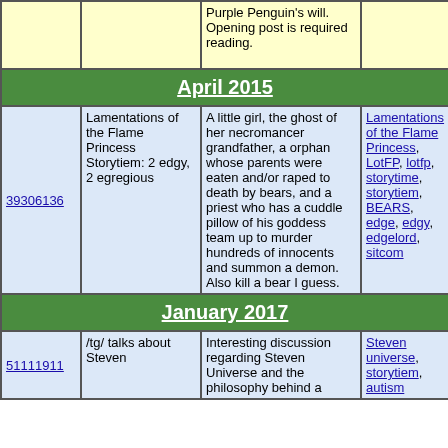| ID | Title | Description | Tags |
| --- | --- | --- | --- |
|  |  | Purple Penguin's will. Opening post is required reading. |  |
| April 2015 |  |  |  |
| 39306136 | Lamentations of the Flame Princess Storytiem: 2 edgy, 2 egregious | A little girl, the ghost of her necromancer grandfather, a orphan whose parents were eaten and/or raped to death by bears, and a priest who has a cuddle pillow of his goddess team up to murder hundreds of innocents and summon a demon. Also kill a bear I guess. | Lamentations of the Flame Princess, LotFP, lotfp, storytime, storytiem, BEARS, edge, edgy, edgelord, sitcom |
| January 2017 |  |  |  |
| 51111911 | /tg/ talks about Steven | Interesting discussion regarding Steven Universe and the philosophy behind a | Steven universe, storytiem, autism |